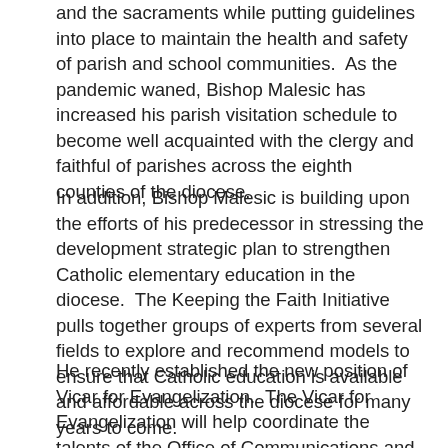and the sacraments while putting guidelines into place to maintain the health and safety of parish and school communities.  As the pandemic waned, Bishop Malesic has increased his parish visitation schedule to become well acquainted with the clergy and faithful of parishes across the eighth counties of the diocese.
In addition, Bishop Malesic is building upon the efforts of his predecessor in stressing the development strategic plan to strengthen Catholic elementary education in the diocese.  The Keeping the Faith Initiative pulls together groups of experts from several fields to explore and recommend models to ensure that Catholic education is available and affordable across the diocese for many years to come.
He recently established the new position of Vicar for Evangelization.  The Vicar for Evangelization will help coordinate the talents of the Office of Communications and the Secretariat for Parish Life and Development to further